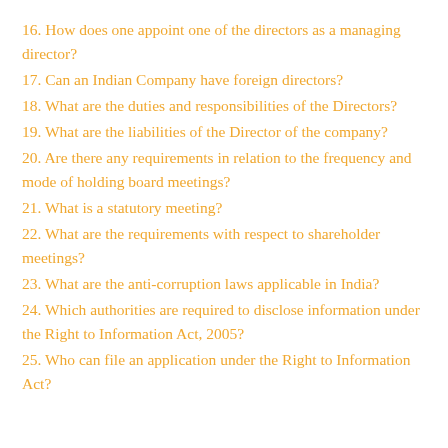16. How does one appoint one of the directors as a managing director?
17. Can an Indian Company have foreign directors?
18. What are the duties and responsibilities of the Directors?
19. What are the liabilities of the Director of the company?
20. Are there any requirements in relation to the frequency and mode of holding board meetings?
21. What is a statutory meeting?
22. What are the requirements with respect to shareholder meetings?
23. What are the anti-corruption laws applicable in India?
24. Which authorities are required to disclose information under the Right to Information Act, 2005?
25. Who can file an application under the Right to Information Act?